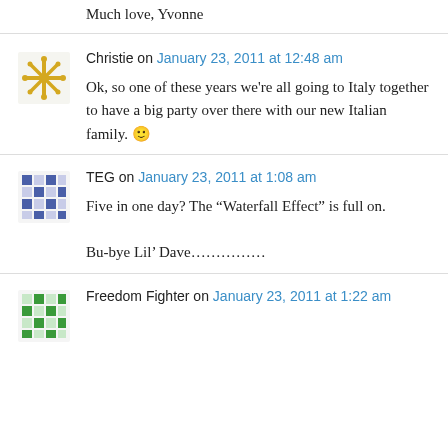Much love, Yvonne
Christie on January 23, 2011 at 12:48 am
Ok, so one of these years we're all going to Italy together to have a big party over there with our new Italian family. 🙂
TEG on January 23, 2011 at 1:08 am
Five in one day? The “Waterfall Effect” is full on.
Bu-bye Lil’ Dave……………
Freedom Fighter on January 23, 2011 at 1:22 am